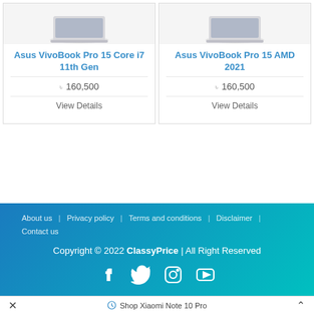Asus VivoBook Pro 15 Core i7 11th Gen
৳ 160,500
View Details
Asus VivoBook Pro 15 AMD 2021
৳ 160,500
View Details
About us | Privacy policy | Terms and conditions | Disclaimer | Contact us
Copyright © 2022 ClassyPrice | All Right Reserved
✕  Shop Xiaomi Note 10 Pro  ∧